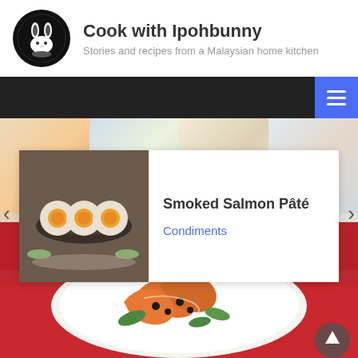Cook with Ipohbunny
Stories and recipes from a Malaysian home kitchen
[Figure (screenshot): Navigation bar with dark background and blue hamburger menu button on the right]
[Figure (photo): Slider carousel showing a card with a food photo (eggs and meat dish) on the left, title 'Smoked Salmon Pâté' and category 'Condiments' on the right, with left and right navigation arrows, and a blurred food mosaic background]
Smoked Salmon Pâté
Condiments
[Figure (photo): Large food photo at bottom showing a seafood dish with prawns, vegetables and sauce on a white plate, with a red tablecloth background]